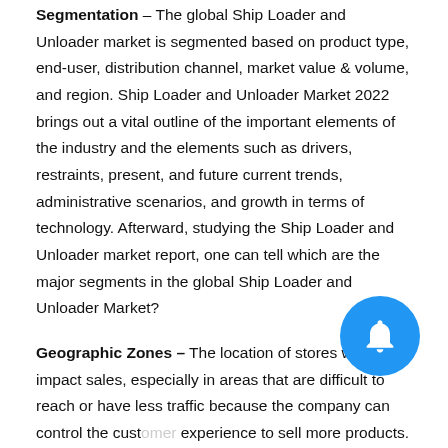Segmentation – The global Ship Loader and Unloader market is segmented based on product type, end-user, distribution channel, market value & volume, and region. Ship Loader and Unloader Market 2022 brings out a vital outline of the important elements of the industry and the elements such as drivers, restraints, present, and future current trends, administrative scenarios, and growth in terms of technology. Afterward, studying the Ship Loader and Unloader market report, one can tell which are the major segments in the global Ship Loader and Unloader Market?
Geographic Zones – The location of stores will also impact sales, especially in areas that are difficult to reach or have less traffic because the company can control the customer experience to sell more products. The new trends mentioned in the Ship Loader and Unloader market report are increasing sales by country in North America, Europe, Latin America,